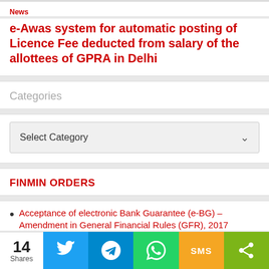News
e-Awas system for automatic posting of Licence Fee deducted from salary of the allottees of GPRA in Delhi
Categories
Select Category
FINMIN ORDERS
Acceptance of electronic Bank Guarantee (e-BG) – Amendment in General Financial Rules (GFR), 2017